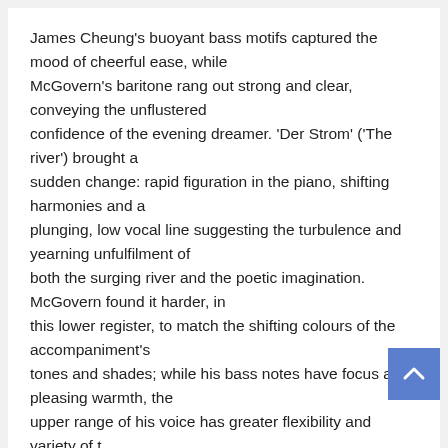James Cheung's buoyant bass motifs captured the mood of cheerful ease, while McGovern's baritone rang out strong and clear, conveying the unflustered confidence of the evening dreamer. 'Der Strom' ('The river') brought a sudden change: rapid figuration in the piano, shifting harmonies and a plunging, low vocal line suggesting the turbulence and yearning unfulfilment of both the surging river and the poetic imagination. McGovern found it harder, in this lower register, to match the shifting colours of the accompaniment's tones and shades; while his bass notes have focus and pleasing warmth, the upper range of his voice has greater flexibility and variety of t...